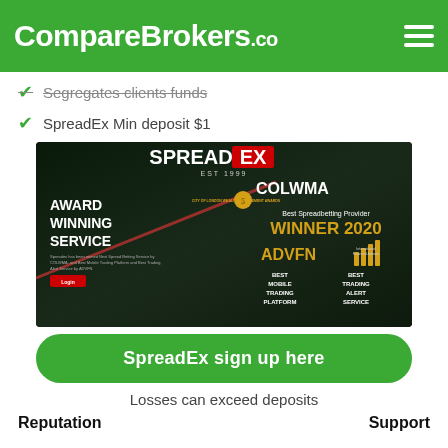CompareBrokers.co
Segregates clients funds
SpreadEx Min deposit $1
[Figure (illustration): SpreadEx promotional banner showing award winning service, COLWMA Best Spreadbetting Provider Winner 2020, ADVFN Best Mobile Trading Platform and Best Trading Alert Service awards]
SpreadEx sign up here
Losses can exceed deposits
Reputation
Support